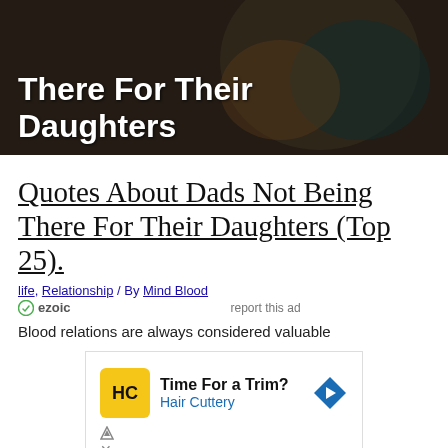[Figure (photo): Hero image showing a father and daughter, dark overlay, with bold white text overlay reading 'There For Their Daughters']
Quotes About Dads Not Being There For Their Daughters (Top 25).
life, Relationship / By Mind Blood
ezoic   report this ad
Blood relations are always considered valuable
[Figure (screenshot): Advertisement for Hair Cuttery: 'Time For a Trim? Hair Cuttery' with HC logo and blue arrow icon]